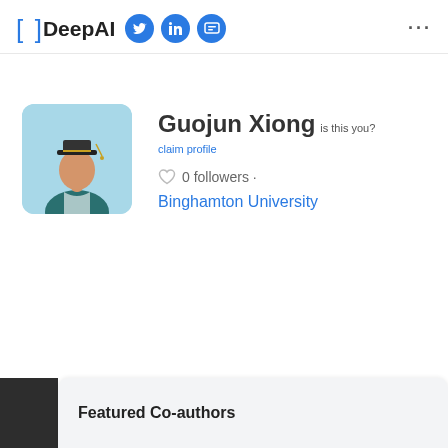DeepAI
[Figure (illustration): DeepAI logo with bracket symbols, social media icons for Twitter, LinkedIn, and a chat/video icon, and a three-dot menu on the right]
[Figure (illustration): Avatar of a student wearing a graduation cap and teal academic gown, on a light blue rounded square background]
Guojun Xiong
is this you? claim profile
0 followers ·
Binghamton University
Featured Co-authors